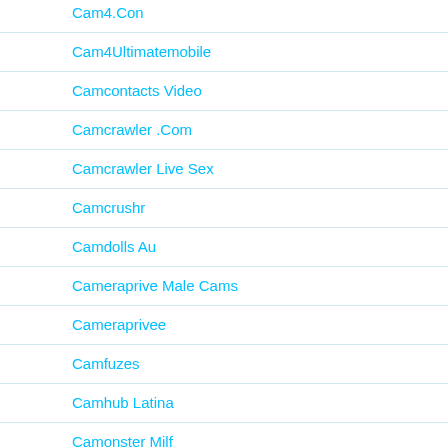Cam4.Con
Cam4Ultimatemobile
Camcontacts Video
Camcrawler .Com
Camcrawler Live Sex
Camcrushr
Camdolls Au
Cameraprive Male Cams
Cameraprivee
Camfuzes
Camhub Latina
Camonster Milf
Camonster\